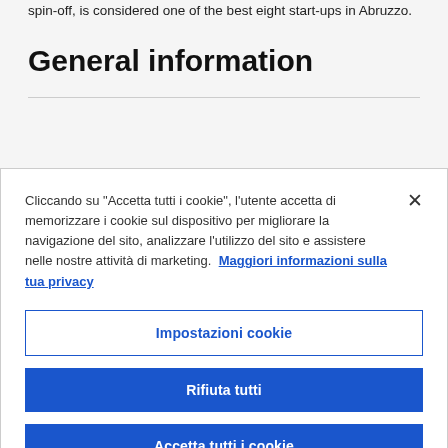spin-off, is considered one of the best eight start-ups in Abruzzo.
General information
Cliccando su "Accetta tutti i cookie", l'utente accetta di memorizzare i cookie sul dispositivo per migliorare la navigazione del sito, analizzare l'utilizzo del sito e assistere nelle nostre attività di marketing. Maggiori informazioni sulla tua privacy
Impostazioni cookie
Rifiuta tutti
Accetta tutti i cookie